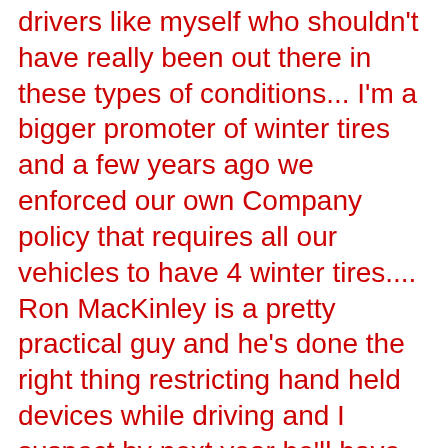drivers like myself who shouldn't have really been out there in these types of conditions... I'm a bigger promoter of winter tires and a few years ago we enforced our own Company policy that requires all our vehicles to have 4 winter tires.... Ron MacKinley is a pretty practical guy and he's done the right thing restricting hand held devices while driving and I suspect by next year he'll have the supporting data to move forward on making winter tires mandatory using some tax relief for those who might have trouble affording the costs of such... this time last year I gave a response to the Guardian's Editorial on Considering the merits of winter tires and it might be worth looking at that post again http://www.timbanks.ca/2009/01/better-